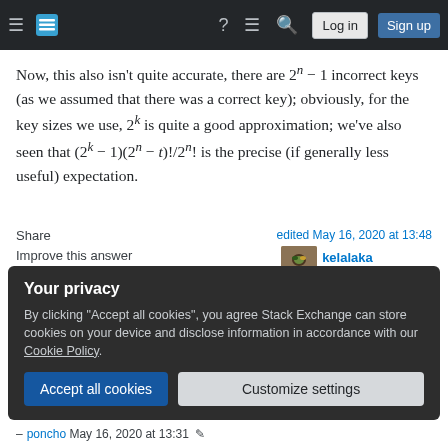Stack Exchange navigation bar with hamburger menu, logo, help, chat, search icons, Log in and Sign up buttons
Now, this also isn't quite accurate, there are 2^(n−1) incorrect keys (as we assumed that there was a correct key); obviously, for the key sizes we use, 2^k is quite a good approximation; we've also seen that (2^k − 1)(2^n − t)!/2^n! is the precise (if generally less useful) expectation.
Share   Improve this answer   Follow
edited May 16, 2020 at 13:48
kelalaka
43.7k  9  97  170
answered May 16, 2020 at 4:11
Your privacy
By clicking "Accept all cookies", you agree Stack Exchange can store cookies on your device and disclose information in accordance with our Cookie Policy.
Accept all cookies   Customize settings
– poncho May 16, 2020 at 13:31